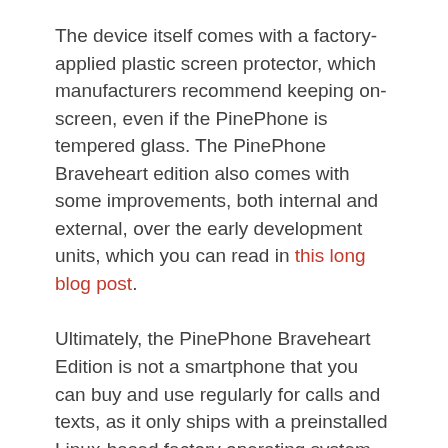The device itself comes with a factory-applied plastic screen protector, which manufacturers recommend keeping on-screen, even if the PinePhone is tempered glass. The PinePhone Braveheart edition also comes with some improvements, both internal and external, over the early development units, which you can read in this long blog post.
Ultimately, the PinePhone Braveheart Edition is not a smartphone that you can buy and use regularly for calls and texts, as it only ships with a preinstalled Linux-based factory operating system. called postmarketOS, which only allows you to test various features of the device and run an automated test.
It will be up to customers to find and install an operating system for the end user, such as Ubuntu Touch, Neon KDE with Plasma Mobile, or LuneOS, which you can all preview while running on the PinePhone in the video below. According to PINE64, larger-scale production of the PinePhone is slated for March 2020, if one